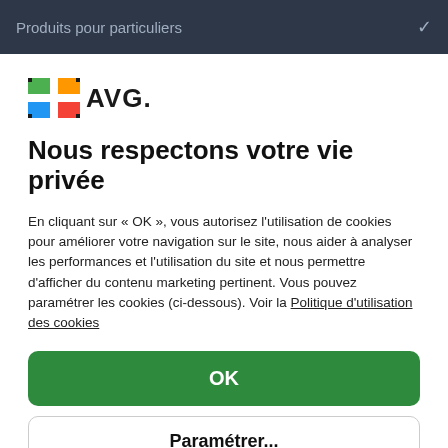Produits pour particuliers
[Figure (logo): AVG logo with colorful flag icon and bold AVG wordmark]
Nous respectons votre vie privée
En cliquant sur « OK », vous autorisez l'utilisation de cookies pour améliorer votre navigation sur le site, nous aider à analyser les performances et l'utilisation du site et nous permettre d'afficher du contenu marketing pertinent. Vous pouvez paramétrer les cookies (ci-dessous). Voir la Politique d'utilisation des cookies
OK
Paramétrer...